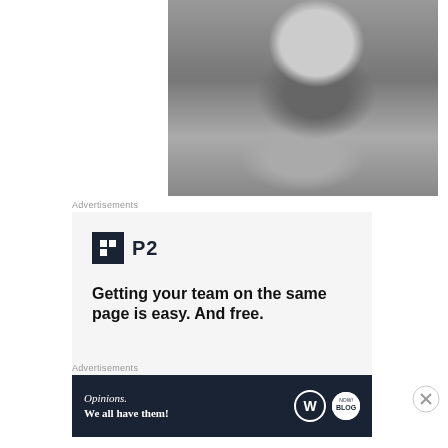[Figure (photo): Black and white photograph of a person, partially cropped, appears to be a child or person in layered clothing]
Advertisements
[Figure (screenshot): Advertisement for P2 with logo and headline: Getting your team on the same page is easy. And free.]
Advertisements
[Figure (screenshot): Advertisement banner: Opinions. We all have them! with WordPress and Blog logos on dark navy background]